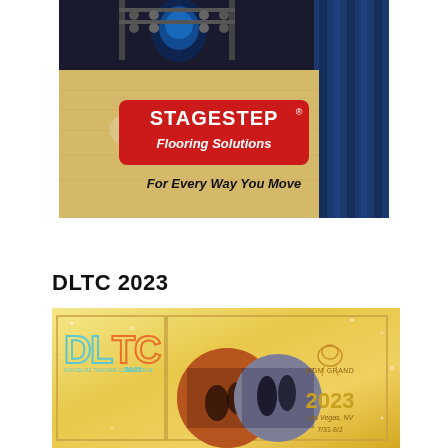[Figure (advertisement): Stagestep Flooring Solutions advertisement showing a wooden dance floor with blue curtains and a blue mask/face backdrop. Red logo reads 'STAGESTEP Flooring Solutions' and tagline 'For Every Way You Move' in bold black italic text.]
DLTC 2023
[Figure (advertisement): DLTC 2023 Dancelife Teacher Conference promotional image with gold glitter background. Shows 'DLTC 2023' logo in teal/orange letters, two circular photos of dancers, MGM Grand lion logo, '2023' in gold text, 'Las Vegas, NV' text, and partial date line.]